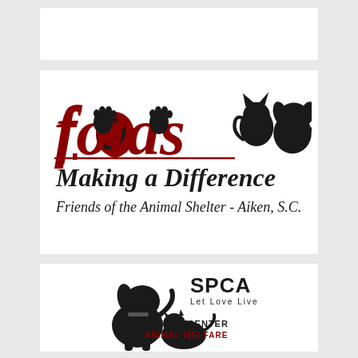[Figure (logo): FOTAS logo: 'fotas' in large dark red italic underlined script with paw print icons for 'o' characters, silhouettes of a cat and dog to the right, text 'Making a Difference' in bold italic black, 'Friends of the Animal Shelter - Aiken, S.C.' in italic black below]
[Figure (logo): SPCA 'Let Love Live' Albrecht Center for Animal Welfare logo: black silhouette of a dog and cat, 'SPCA' text bold, 'Let Love Live' tagline, 'ALBRECHT CENTER for ANIMAL WELFARE' text below]